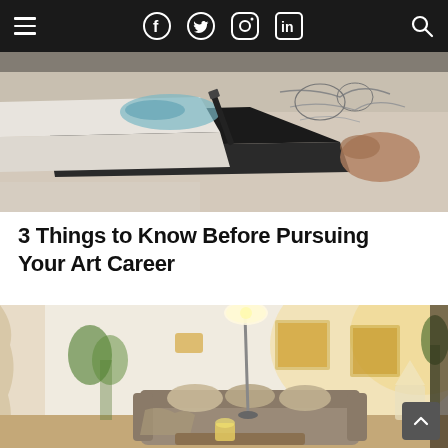Navigation bar with hamburger menu, social icons (Facebook, Twitter, Instagram, LinkedIn), and search icon
[Figure (photo): Close-up photo of hands sketching/drawing on paper with colored markers and pencils on a desk]
3 Things to Know Before Pursuing Your Art Career
[Figure (photo): Photo of a warmly lit living room with framed artwork on the wall, a floor lamp, sofa with cushions, and plants]